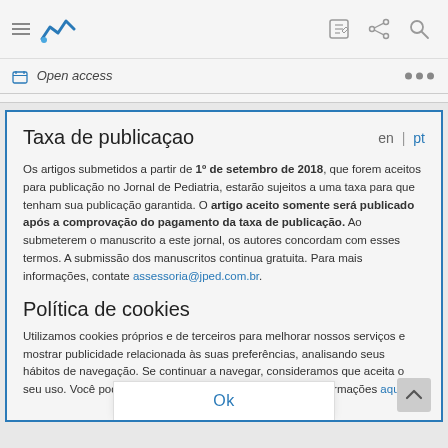[Figure (screenshot): Top navigation bar with hamburger menu icon, blue logo icon, edit icon, share icon, and search icon]
Open access
Taxa de publicaçao
Os artigos submetidos a partir de 1º de setembro de 2018, que forem aceitos para publicação no Jornal de Pediatria, estarão sujeitos a uma taxa para que tenham sua publicação garantida. O artigo aceito somente será publicado após a comprovação do pagamento da taxa de publicação. Ao submeterem o manuscrito a este jornal, os autores concordam com esses termos. A submissão dos manuscritos continua gratuita. Para mais informações, contate assessoria@jped.com.br.
Política de cookies
Utilizamos cookies próprios e de terceiros para melhorar nossos serviços e mostrar publicidade relacionada às suas preferências, analisando seus hábitos de navegação. Se continuar a navegar, consideramos que aceita o seu uso. Você pode alterar a configuração ou obter mais informações aqui.
Ok